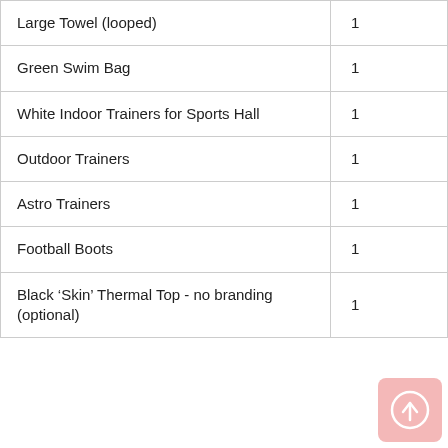| Large Towel (looped) | 1 |
| Green Swim Bag | 1 |
| White Indoor Trainers for Sports Hall | 1 |
| Outdoor Trainers | 1 |
| Astro Trainers | 1 |
| Football Boots | 1 |
| Black ‘Skin’ Thermal Top - no branding (optional) | 1 |